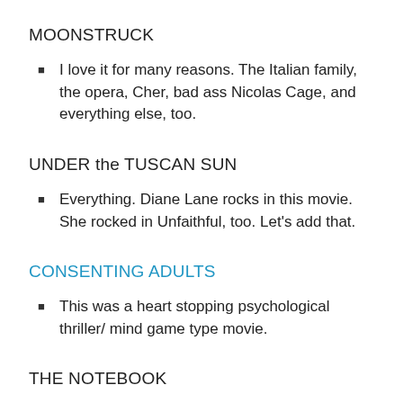MOONSTRUCK
I love it for many reasons. The Italian family, the opera, Cher, bad ass Nicolas Cage, and everything else, too.
UNDER the TUSCAN SUN
Everything. Diane Lane rocks in this movie. She rocked in Unfaithful, too. Let’s add that.
CONSENTING ADULTS
This was a heart stopping psychological thriller/ mind game type movie.
THE NOTEBOOK
This inspired many emotions, both good and bad. True